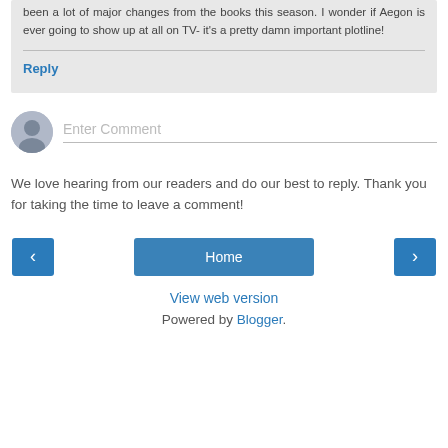been a lot of major changes from the books this season. I wonder if Aegon is ever going to show up at all on TV- it's a pretty damn important plotline!
Reply
Enter Comment
We love hearing from our readers and do our best to reply. Thank you for taking the time to leave a comment!
< Home >
View web version
Powered by Blogger.